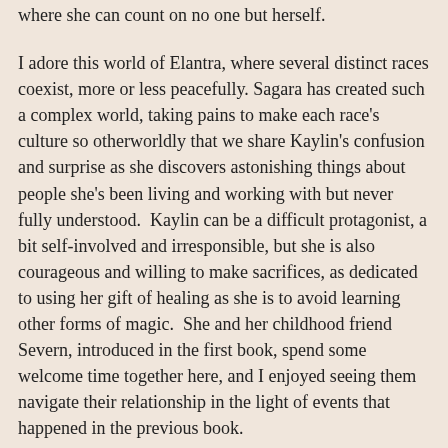where she can count on no one but herself.
I adore this world of Elantra, where several distinct races coexist, more or less peacefully. Sagara has created such a complex world, taking pains to make each race's culture so otherworldly that we share Kaylin's confusion and surprise as she discovers astonishing things about people she's been living and working with but never fully understood.  Kaylin can be a difficult protagonist, a bit self-involved and irresponsible, but she is also courageous and willing to make sacrifices, as dedicated to using her gift of healing as she is to avoid learning other forms of magic.  She and her childhood friend Severn, introduced in the first book, spend some welcome time together here, and I enjoyed seeing them navigate their relationship in the light of events that happened in the previous book.
This is now officially among my favorite fantasy series - tight writing, intricate world-building, complex and highly sympathetic characters, plot twists, humor, and storylines that keep me guessing and turning the pages.  The world of Elantra is very complicated, and much is explained in the first book that is only touched on in this one, so I strongly